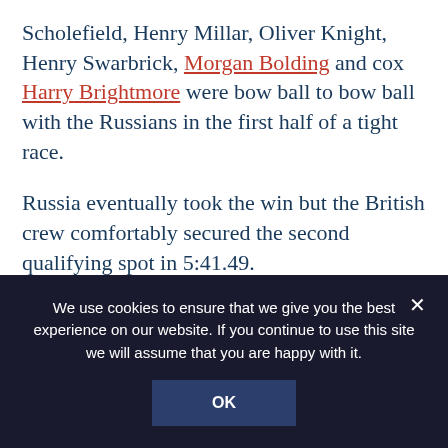Scholefield, Henry Millar, Oliver Knight, Henry Swarbrick, Morgan Bolding and cox Harry Brightmore were bow ball to bow ball with the Russians in the first half of a tight race.
Russia eventually took the win but the British crew comfortably secured the second qualifying spot in 5:41.49.
The morning concluded on a good note for Britain as James Goble and Tom Marshall reached the lightweight men's pair final.
We use cookies to ensure that we give you the best experience on our website. If you continue to use this site we will assume that you are happy with it.